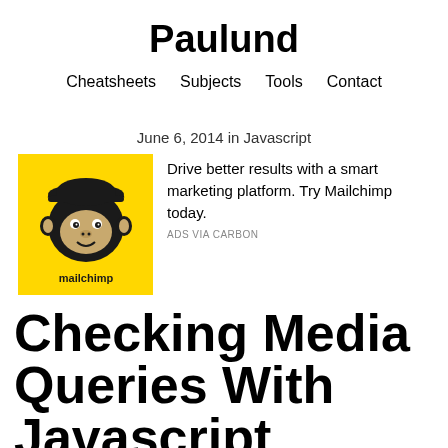Paulund
Cheatsheets   Subjects   Tools   Contact
June 6, 2014 in Javascript
[Figure (logo): Mailchimp logo: yellow square background with cartoon monkey face wearing a cap, text 'mailchimp' below]
Drive better results with a smart marketing platform. Try Mailchimp today.
ADS VIA CARBON
Checking Media Queries With Javascript